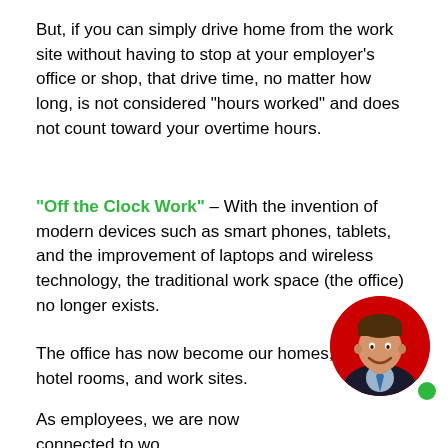But, if you can simply drive home from the work site without having to stop at your employer's office or shop, that drive time, no matter how long, is not considered "hours worked" and does not count toward your overtime hours.
"Off the Clock Work" – With the invention of modern devices such as smart phones, tablets, and the improvement of laptops and wireless technology, the traditional work space (the office) no longer exists.
The office has now become our homes, cars, hotel rooms, and work sites.
[Figure (photo): Circular photo of a man in a suit smiling, on a red circular background, with a green dot in the bottom right.]
As employees, we are now connected to wo... But guess what, your employers don't want to pay...